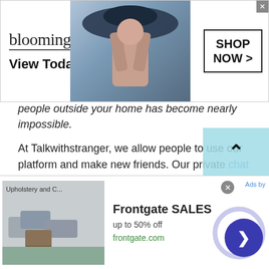[Figure (screenshot): Bloomingdale's advertisement banner: logo text 'bloomingdales', tagline 'View Today's Top Deals!', model with large hat, 'SHOP NOW >' button in box, close button]
people outside your home has become nearly impossible.
At Talkwithstranger, we allow people to use our platform and make new friends. Our private chat rooms allow you to meet outstanding individuals from all parts of the world which Somali Chat Online much easier.
Share Knowledge
Since you meet new people from any random part of the world, it gives you a chance to expand your horizons and get to learn more about other cultures, other regions, and
[Figure (screenshot): Frontgate SALES advertisement: outdoor furniture image, 'Frontgate SALES', 'up to 50% off', 'frontgate.com', close button, next arrow button]